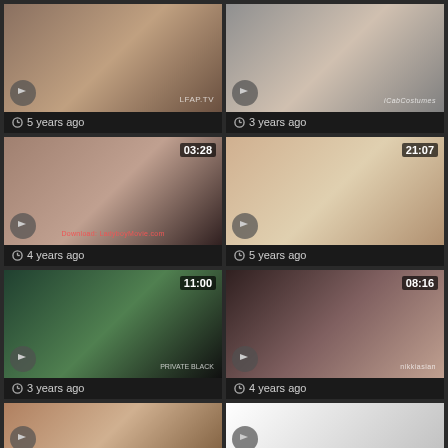[Figure (screenshot): Video thumbnail grid item 1 - watermark LFAP.TV, 5 years ago]
[Figure (screenshot): Video thumbnail grid item 2 - watermark iCabCostumes, 3 years ago]
[Figure (screenshot): Video thumbnail grid item 3 - duration 03:28, watermark Download LadyboyMovie.com, 4 years ago]
[Figure (screenshot): Video thumbnail grid item 4 - duration 21:07, 5 years ago]
[Figure (screenshot): Video thumbnail grid item 5 - duration 11:00, watermark PRIVATE BLACK, 3 years ago]
[Figure (screenshot): Video thumbnail grid item 6 - duration 08:16, watermark, 4 years ago]
[Figure (screenshot): Video thumbnail grid item 7 - partial row bottom]
[Figure (screenshot): Video thumbnail grid item 8 - partial row bottom]